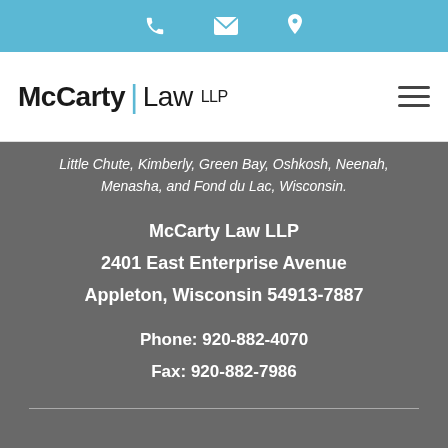Phone | Email | Location icons
McCarty Law LLP
Little Chute, Kimberly, Green Bay, Oshkosh, Neenah, Menasha, and Fond du Lac, Wisconsin.
McCarty Law LLP
2401 East Enterprise Avenue
Appleton, Wisconsin 54913-7887
Phone: 920-882-4070
Fax: 920-882-7986
Practice Areas, Services, Accessibility